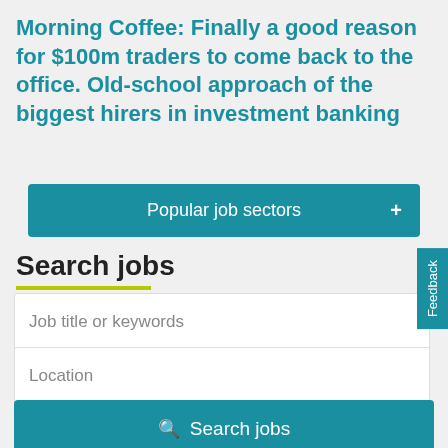Morning Coffee: Finally a good reason for $100m traders to come back to the office. Old-school approach of the biggest hirers in investment banking
Popular job sectors
Search jobs
Job title or keywords
Location
Search jobs
Search articles
Keywords or phrase